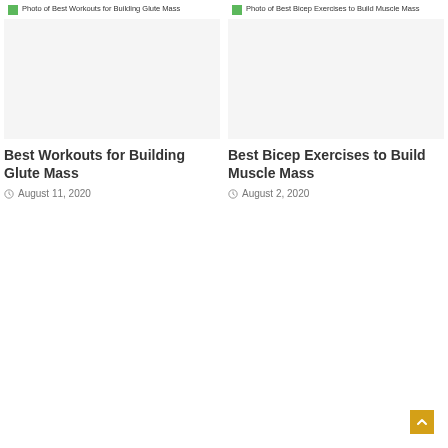[Figure (photo): Broken image placeholder for Best Workouts for Building Glute Mass]
Best Workouts for Building Glute Mass
August 11, 2020
[Figure (photo): Broken image placeholder for Best Bicep Exercises to Build Muscle Mass]
Best Bicep Exercises to Build Muscle Mass
August 2, 2020